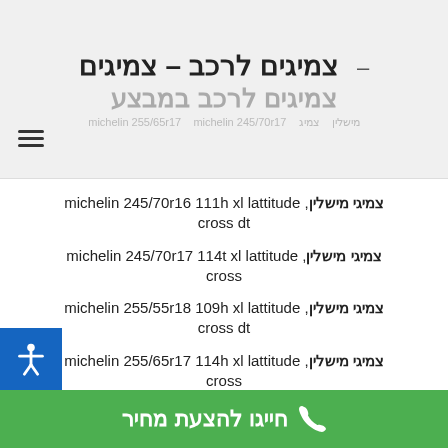צמיגים לרכב – צמיגים
צמיגים לרכב במבצע
צמיגי מישלין, michelin 245/70r16 111h xl lattitude cross dt
צמיגי מישלין, michelin 245/70r17 114t xl lattitude cross
צמיגי מישלין, michelin 255/55r18 109h xl lattitude cross dt
צמיגי מישלין, michelin 255/65r17 114h xl lattitude cross
חייגו להצעת מחיר